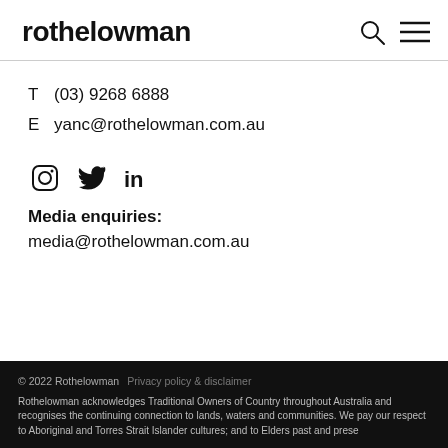rothelowman
T  (03) 9268 6888
E  yanc@rothelowman.com.au
[Figure (illustration): Social media icons: Instagram, Twitter, LinkedIn]
Media enquiries:
media@rothelowman.com.au
© 2022 Rothelowman  Privacy policy & disclaimer
Rothelowman acknowledges Traditional Owners of Country throughout Australia and recognises the continuing connection to lands, waters and communities. We pay our respect to Aboriginal and Torres Strait Islander cultures; and to Elders past and prese